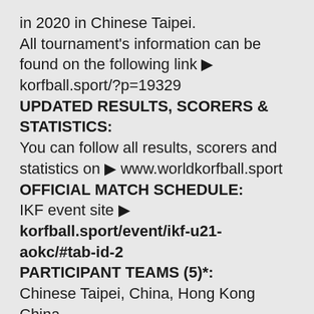in 2020 in Chinese Taipei.
All tournament's information can be found on the following link ▶ korfball.sport/?p=19329
UPDATED RESULTS, SCORERS & STATISTICS:
You can follow all results, scorers and statistics on ▶ www.worldkorfball.sport
OFFICIAL MATCH SCHEDULE:
IKF event site ▶ korfball.sport/event/ikf-u21-aokc/#tab-id-2
PARTICIPANT TEAMS (5)*:
Chinese Taipei, China, Hong Kong China, New Zealand and Thailand. (*Sri Lanka